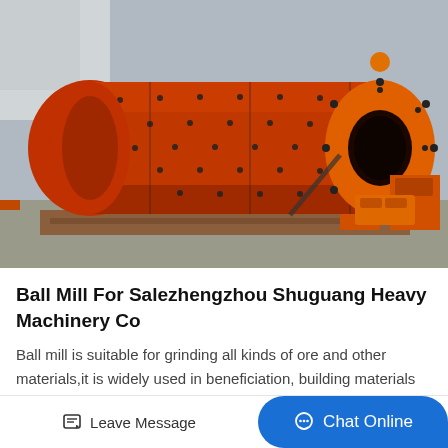[Figure (photo): Large orange industrial ball mill machine sitting on a wooden pallet outdoors. The cylindrical drum is dark red-orange with bolted seams. The end plate and discharge end are bright orange with a large circular opening and bolted flange. Support structure and motor base visible at right.]
Ball Mill For Salezhengzhou Shuguang Heavy Machinery Co
Ball mill is suitable for grinding all kinds of ore and other materials,it is widely used in beneficiation, building materials and chemical industries,the ball mill...